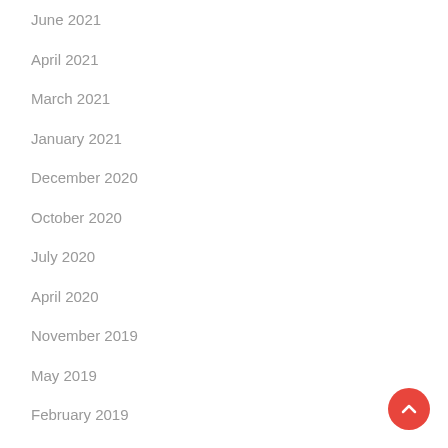June 2021
April 2021
March 2021
January 2021
December 2020
October 2020
July 2020
April 2020
November 2019
May 2019
February 2019
January 2019